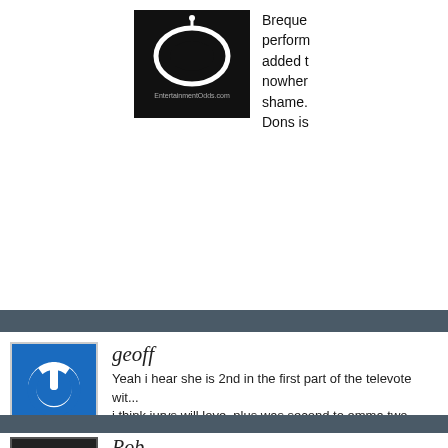[Figure (logo): EntertainmentOdds.com logo — black background with oval TV shape and website URL text]
Breque... perform... added t... nowher... shame. Dons is
[Figure (illustration): Blue square with white power button icon — geoff's avatar]
geoff
Yeah i hear she is 2nd in the first part of the televote wit... i think jurys will love, plus was second to emma two yea... popular on social media too. I think some bookies migh... an eye open ?
[Figure (photo): Dark/black avatar image for Rob commenter]
Rob